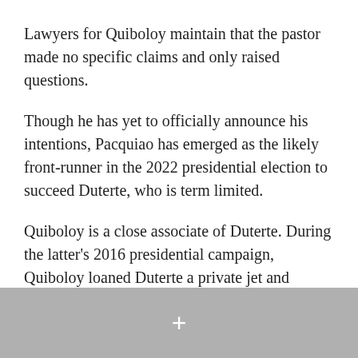Lawyers for Quiboloy maintain that the pastor made no specific claims and only raised questions.
Though he has yet to officially announce his intentions, Pacquiao has emerged as the likely front-runner in the 2022 presidential election to succeed Duterte, who is term limited.
Quiboloy is a close associate of Duterte. During the latter's 2016 presidential campaign, Quiboloy loaned Duterte a private jet and helicopter to support his campaign. All three men hail from Mindanao, the populous island in the southern Philippines, the second-largest in the country.